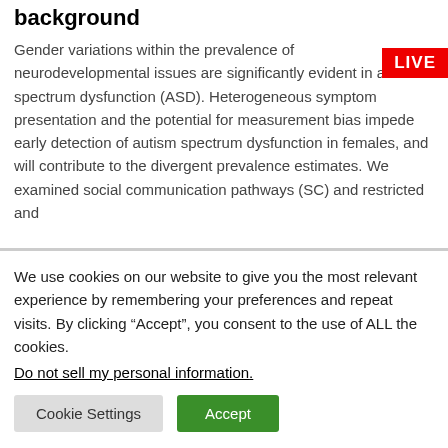background
Gender variations within the prevalence of neurodevelopmental issues are significantly evident in autism spectrum dysfunction (ASD). Heterogeneous symptom presentation and the potential for measurement bias impede early detection of autism spectrum dysfunction in females, and will contribute to the divergent prevalence estimates. We examined social communication pathways (SC) and restricted and
We use cookies on our website to give you the most relevant experience by remembering your preferences and repeat visits. By clicking “Accept”, you consent to the use of ALL the cookies.
Do not sell my personal information.